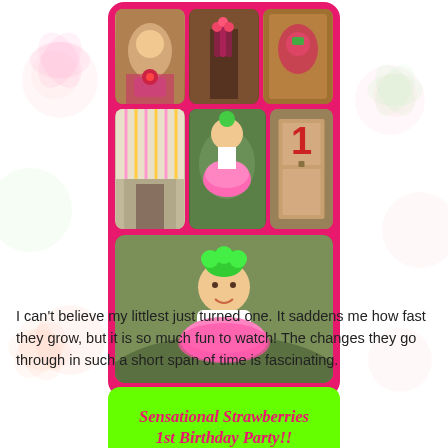[Figure (photo): A collage of birthday party photos on a hot pink background with a green rounded banner at bottom reading 'Sensational Strawberries 1st Birthday Party!!' in pink script. Photos show a baby/toddler at a strawberry-themed first birthday party, party decorations, cupcakes, and the child in a pink tutu.]
I can't believe my littlest just turned one. It saddens me how fast they grow, but it is so much fun to watch! The changes they go through in such a short span of time is fascinating.